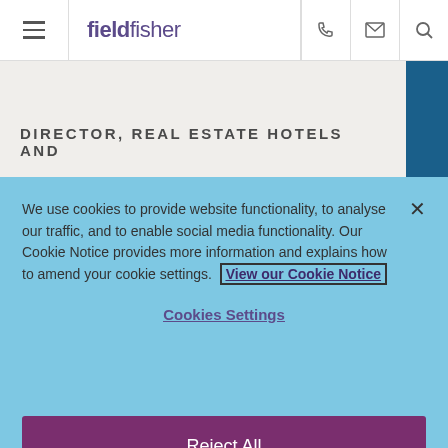fieldfisher
DIRECTOR, REAL ESTATE HOTELS AND
We use cookies to provide website functionality, to analyse our traffic, and to enable social media functionality. Our Cookie Notice provides more information and explains how to amend your cookie settings. View our Cookie Notice
Cookies Settings
Reject All
Accept All Cookies